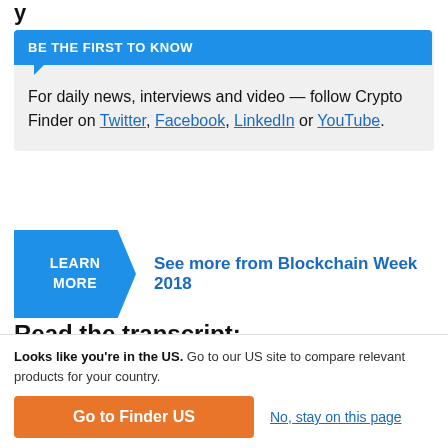y
BE THE FIRST TO KNOW

For daily news, interviews and video — follow Crypto Finder on Twitter, Facebook, LinkedIn or YouTube.
LEARN MORE  See more from Blockchain Week 2018
Read the transcript:
My name is Piers Ridyard. I am the CEO of Radix and I
Looks like you're in the US. Go to our US site to compare relevant products for your country.

Go to Finder US    No, stay on this page